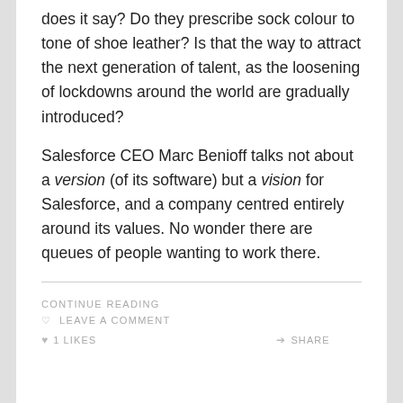does it say? Do they prescribe sock colour to tone of shoe leather? Is that the way to attract the next generation of talent, as the loosening of lockdowns around the world are gradually introduced?
Salesforce CEO Marc Benioff talks not about a version (of its software) but a vision for Salesforce, and a company centred entirely around its values. No wonder there are queues of people wanting to work there.
CONTINUE READING
LEAVE A COMMENT
1 LIKES
SHARE